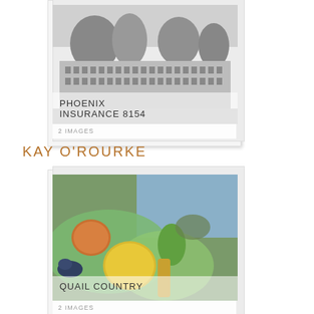[Figure (photo): Card showing a black and white photograph of a large building (Phoenix Insurance) with trees in front, titled PHOENIX INSURANCE 8154, 2 IMAGES]
KAY O'ROURKE
[Figure (photo): Card showing a color painting of fruits and vegetables (Quail Country) with an outdoor landscape scene, titled QUAIL COUNTRY, 2 IMAGES]